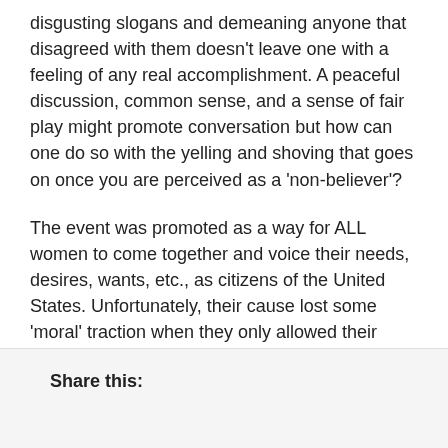disgusting slogans and demeaning anyone that disagreed with them doesn't leave one with a feeling of any real accomplishment. A peaceful discussion, common sense, and a sense of fair play might promote conversation but how can one do so with the yelling and shoving that goes on once you are perceived as a 'non-believer'?
The event was promoted as a way for ALL women to come together and voice their needs, desires, wants, etc., as citizens of the United States. Unfortunately, their cause lost some 'moral' traction when they only allowed their agenda to be heard and disrespected the women who advocated pro-life. Seems to me that the pro-life women were fighting for the future women the other marchers were fighting so hard to have aborted.
Share this: